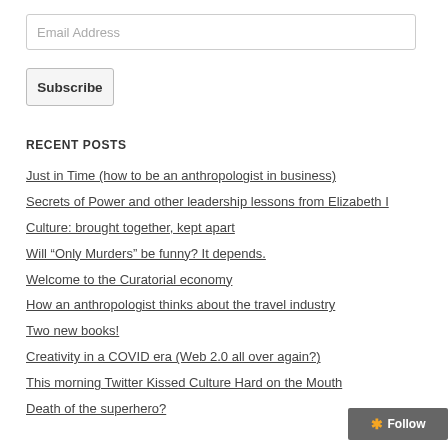Email Address
Subscribe
RECENT POSTS
Just in Time (how to be an anthropologist in business)
Secrets of Power and other leadership lessons from Elizabeth I
Culture: brought together, kept apart
Will “Only Murders” be funny? It depends.
Welcome to the Curatorial economy
How an anthropologist thinks about the travel industry
Two new books!
Creativity in a COVID era (Web 2.0 all over again?)
This morning Twitter Kissed Culture Hard on the Mouth
Death of the superhero?
Follow